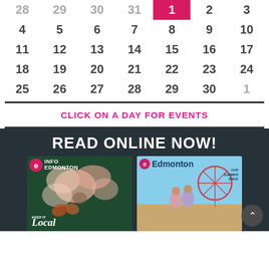| Sun | Mon | Tue | Wed | Thu | Fri | Sat |
| --- | --- | --- | --- | --- | --- | --- |
| 28 | 29 | 30 | 31 | 1 | 2 | 3 |
| 4 | 5 | 6 | 7 | 8 | 9 | 10 |
| 11 | 12 | 13 | 14 | 15 | 16 | 17 |
| 18 | 19 | 20 | 21 | 22 | 23 | 24 |
| 25 | 26 | 27 | 28 | 29 | 30 | 1 |
CLICK ON A DAY FOR EVENTS
READ ONLINE NOW!
[Figure (photo): Two Info Edmonton magazine covers side by side on a dark background. Left cover shows floral artwork with butterflies and text 'Keep It Local'. Right cover shows two young people at a fair/amusement park with ferris wheel and text 'Our Summer Issue'.]